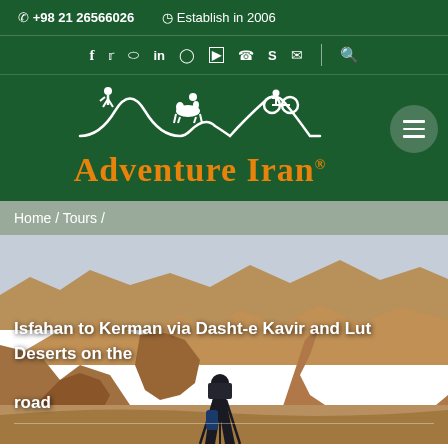☎ +98 21 26566026   ⏰ Establish in 2006
[Figure (screenshot): Social media icons row: facebook, twitter, pinterest, linkedin, instagram, youtube, whatsapp, skype, email, search]
[Figure (logo): Adventure Iran logo with white silhouette illustration of mountain scene with hiker, camel rider and cyclist, orange text Adventure Iran with registered trademark symbol]
Home / Tours /
Isfahan to Kerman via Dasht-e Kavir and Lut Deserts on the road
[Figure (photo): Desert landscape photo showing rocky formations in warm orange/brown tones with a silhouette of a person with camera tripod in the foreground]